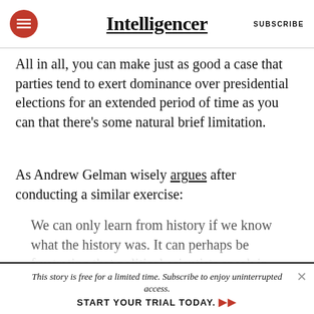Intelligencer | SUBSCRIBE
All in all, you can make just as good a case that parties tend to exert dominance over presidential elections for an extended period of time as you can that there’s some natural brief limitation.
As Andrew Gelman wisely argues after conducting a similar exercise:
We can only learn from history if we know what the history was. It can perhaps be frustrating that political scientists speak in terms of percentages
This story is free for a limited time. Subscribe to enjoy uninterrupted access. START YOUR TRIAL TODAY.